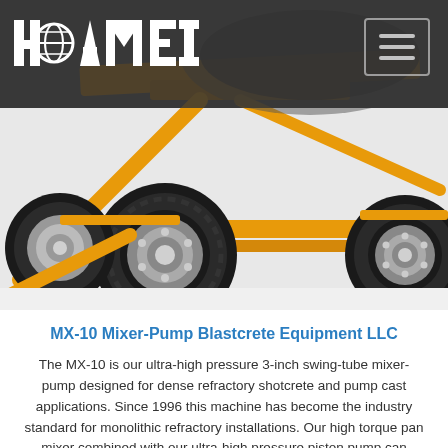HAOMEI
[Figure (photo): Yellow concrete mixer-pump equipment with four large pneumatic tires on a white background, showing the lower frame and wheel assembly of the MX-10 machine.]
MX-10 Mixer-Pump Blastcrete Equipment LLC
The MX-10 is our ultra-high pressure 3-inch swing-tube mixer-pump designed for dense refractory shotcrete and pump cast applications. Since 1996 this machine has become the industry standard for monolithic refractory installations. Our high torque pan mixer combined with our ultra-high pressure piston pump can consistently deliver 10 tons per ...